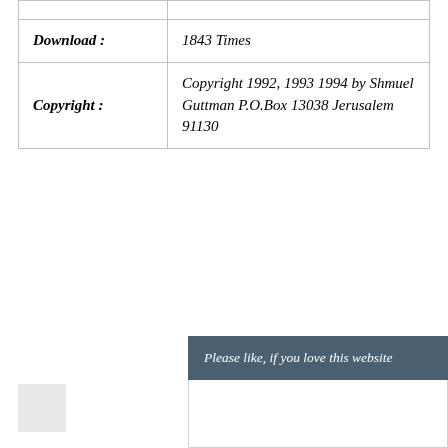|  |  |
| Download : | 1843 Times |
| Copyright : | Copyright 1992, 1993 1994 by Shmuel Guttman P.O.Box 13038 Jerusalem 91130 |
Please like, if you love this website